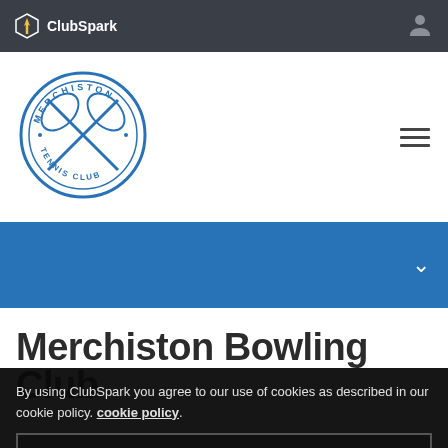ClubSpark
[Figure (logo): Merchiston Tennis Club circular logo in blue]
[Figure (other): Blue navigation band with chevron/dropdown indicator]
Merchiston Bowling Club
By using ClubSpark you agree to our use of cookies as described in our cookie policy. cookie policy.
I UNDERSTAND